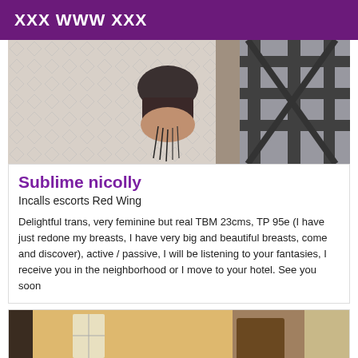XXX WWW XXX
[Figure (photo): Photo of a person in black outfit from behind, near a dark metal structure against a textured white wall]
Sublime nicolly
Incalls escorts Red Wing
Delightful trans, very feminine but real TBM 23cms, TP 95e (I have just redone my breasts, I have very big and beautiful breasts, come and discover), active / passive, I will be listening to your fantasies, I receive you in the neighborhood or I move to your hotel. See you soon
[Figure (photo): Photo of a dimly lit room interior with wooden furniture]